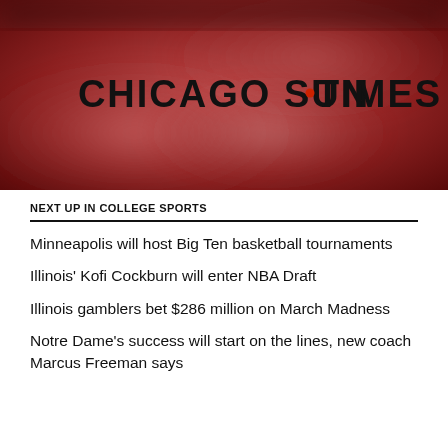[Figure (logo): Chicago Sun-Times logo on a blurred dark red/maroon photographic background]
NEXT UP IN COLLEGE SPORTS
Minneapolis will host Big Ten basketball tournaments
Illinois' Kofi Cockburn will enter NBA Draft
Illinois gamblers bet $286 million on March Madness
Notre Dame's success will start on the lines, new coach Marcus Freeman says